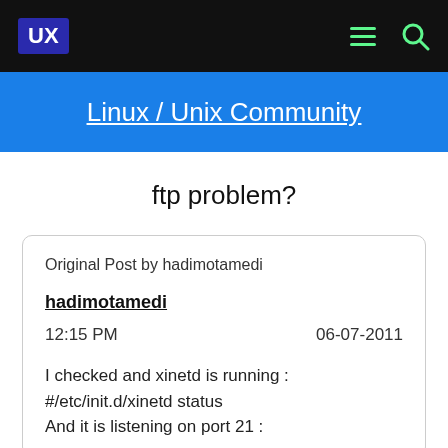UX | Linux / Unix Community
ftp problem?
Original Post by hadimotamedi
hadimotamedi
12:15 PM    06-07-2011
I checked and xinetd is running :
#/etc/init.d/xinetd status
And it is listening on port 21 :